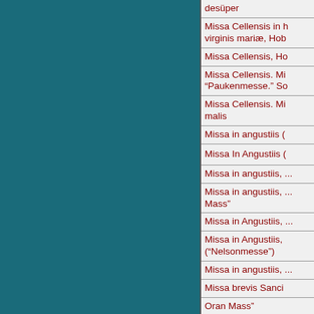| Title |
| --- |
| desüper |
| Missa Cellensis in honorem virginis mariæ, Hob... |
| Missa Cellensis, Ho... |
| Missa Cellensis. Mi... "Paukenmesse." So... |
| Missa Cellensis. Mi... malis |
| Missa in angustiis ( |
| Missa In Angustiis ( |
| Missa in angustiis, ... |
| Missa in angustiis, ... Mass" |
| Missa in Angustiis, ... |
| Missa in Angustiis, ... ("Nelsonmesse") |
| Missa in angustiis, ... |
| Missa brevis Sanci... |
| Oran Mass" |